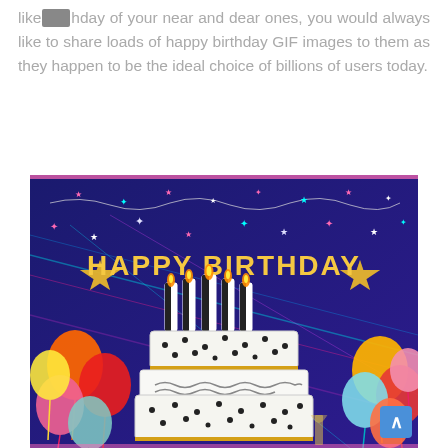like [icon] hday of your near and dear ones, you would always like to share loads of happy birthday GIF images to them as they happen to be the ideal choice of billions of users today.
[Figure (photo): A colorful happy birthday graphic/banner with dark blue/purple background, gold glitter stars, colorful balloons (orange, red, pink, teal, yellow) on both sides, a decorated birthday cake with black and white striped candles with orange flames, and the text 'HAPPY BIRTHDAY' in large gold letters at the top center.]